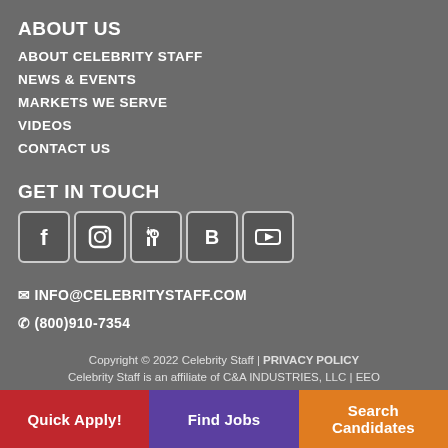ABOUT US
ABOUT CELEBRITY STAFF
NEWS & EVENTS
MARKETS WE SERVE
VIDEOS
CONTACT US
GET IN TOUCH
[Figure (illustration): Row of 5 social media icons: Facebook, Instagram, LinkedIn, Blogger, YouTube]
✉ INFO@CELEBRITYSTAFF.COM
✆ (800)910-7354
Copyright © 2022 Celebrity Staff | PRIVACY POLICY
Celebrity Staff is an affiliate of C&A INDUSTRIES, LLC | EEO
Quick Apply!
Find Jobs
Search Candidates